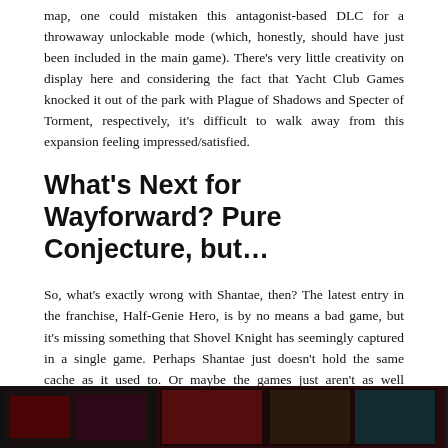map, one could mistaken this antagonist-based DLC for a throwaway unlockable mode (which, honestly, should have just been included in the main game). There's very little creativity on display here and considering the fact that Yacht Club Games knocked it out of the park with Plague of Shadows and Specter of Torment, respectively, it's difficult to walk away from this expansion feeling impressed/satisfied.
What's Next for Wayforward? Pure Conjecture, but...
So, what's exactly wrong with Shantae, then? The latest entry in the franchise, Half-Genie Hero, is by no means a bad game, but it's missing something that Shovel Knight has seemingly captured in a single game. Perhaps Shantae just doesn't hold the same cache as it used to. Or maybe the games just aren't as well designed as its contemporaries. With Indy hits such as Axiom Verge, Ori and the Blind Forest, and now Shovel Knight, Wayforward has had some major competition over the past few years. With that said, perhaps its time for Wayforward to let their genie rest in her cozy bottle for a bit. They're clearly struggling to find what makes Shantae, Shantae, so perhaps a short hiatus is long overdue.
[Figure (photo): Bottom strip of an image showing game-related content, partially visible at the bottom of the page.]